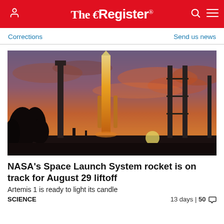The Register
Corrections | Send us news
[Figure (photo): NASA Space Launch System rocket on launch pad at dusk/sunset with dramatic orange and purple sky, trees silhouetted in foreground, launch tower visible]
NASA's Space Launch System rocket is on track for August 29 liftoff
Artemis 1 is ready to light its candle
SCIENCE | 13 days | 50 comments